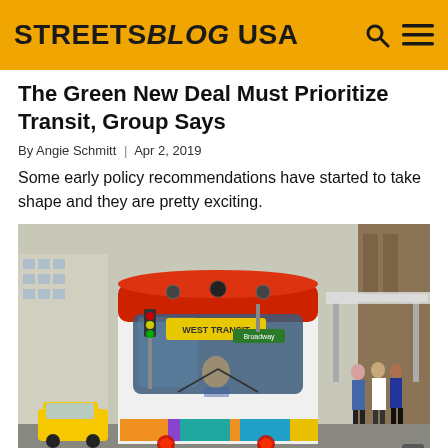STREETSBLOG USA
The Green New Deal Must Prioritize Transit, Group Says
By Angie Schmitt | Apr 2, 2019
Some early policy recommendations have started to take shape and they are pretty exciting.
[Figure (photo): A modern streetcar/tram with colorful artwork on its front, photographed head-on at a downtown transit stop. The tram has a red roof, white body with colorful decorative panels at the bottom, and a windshield displaying a destination sign. People are visible on the right side near a covered platform, and yellow taxis are visible in the background on the left. Urban buildings frame the scene.]